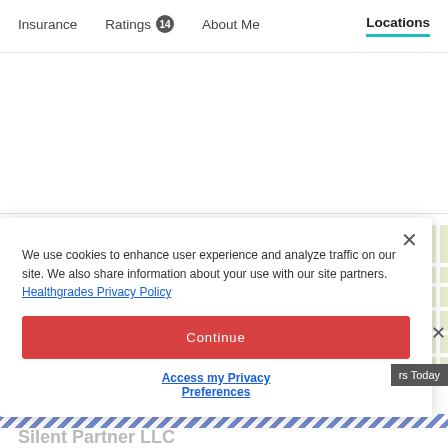Insurance  Ratings 14  About Me  Locations
Locations
[Figure (map): Street map thumbnail showing Oklahoma Capitol Park area]
We use cookies to enhance user experience and analyze traffic on our site. We also share information about your use with our site partners. Healthgrades Privacy Policy
Continue
Access my Privacy Preferences
Silent Partner LLC